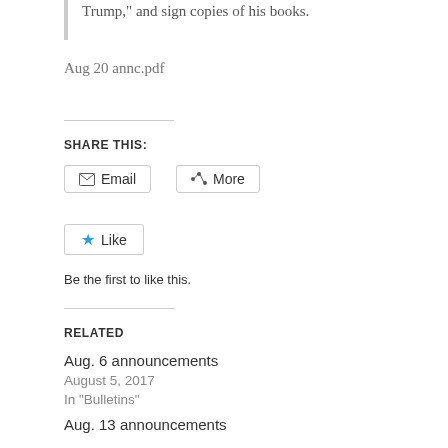Trump," and sign copies of his books.
Aug 20 annc.pdf
SHARE THIS:
[Figure (other): Email and More share buttons]
[Figure (other): Like button with star icon]
Be the first to like this.
RELATED
Aug. 6 announcements
August 5, 2017
In "Bulletins"
Aug. 13 announcements
August 11, 2017
In "Bulletins"